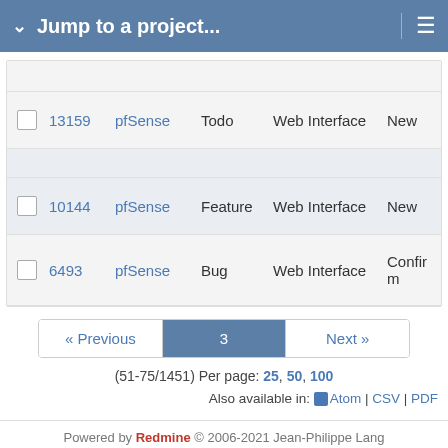Jump to a project...
|  | # | Project | Tracker | Category | Status |
| --- | --- | --- | --- | --- | --- |
|  | 13159 | pfSense | Todo | Web Interface | New |
|  | 10144 | pfSense | Feature | Web Interface | New |
|  | 6493 | pfSense | Bug | Web Interface | Confirmed |
« Previous  3  Next »
(51-75/1451) Per page: 25, 50, 100
Also available in: Atom | CSV | PDF
Powered by Redmine © 2006-2021 Jean-Philippe Lang